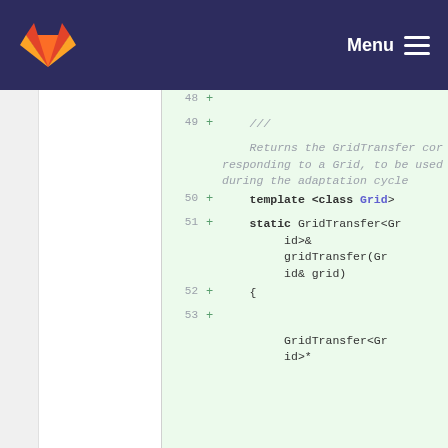GitLab Menu
[Figure (screenshot): GitLab code diff view showing lines 48-53 of a C++ source file with added lines (green background). The diff shows a Doxygen comment explaining a gridTransfer function, and the function template declaration including 'template <class Grid>', 'static GridTransfer<Grid>& gridTransfer(Grid& grid)', an opening brace, and a call to 'GridTransfer<Grid>*'. Line numbers 48-53 are shown on the left with '+' diff markers.]